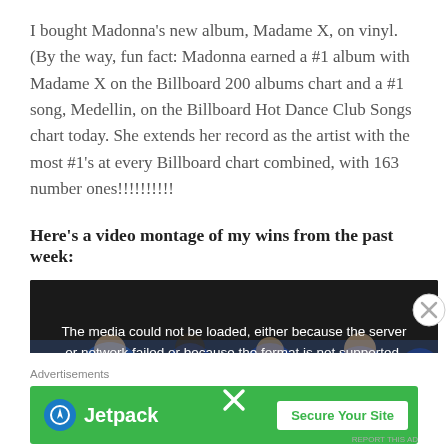I bought Madonna's new album, Madame X, on vinyl. (By the way, fun fact: Madonna earned a #1 album with Madame X on the Billboard 200 albums chart and a #1 song, Medellin, on the Billboard Hot Dance Club Songs chart today. She extends her record as the artist with the most #1's at every Billboard chart combined, with 163 number ones!!!!!!!!!!
Here's a video montage of my wins from the past week:
[Figure (screenshot): Video player showing error message: 'The media could not be loaded, either because the server or network failed or because the format is not supported.' with an X dismiss button. Background shows blurred image of people in blue shirts.]
Advertisements
[Figure (other): Jetpack advertisement banner with green background showing Jetpack logo on left and 'Secure Your Site' button on right]